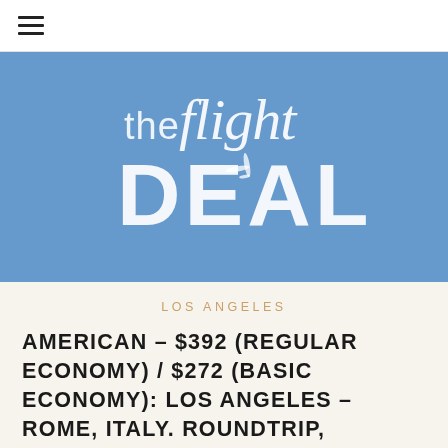≡
[Figure (logo): The Flight Deal logo — white text on steel blue background. 'the flight' in light lowercase letters above 'DEAL' in large bold uppercase letters, with a small airplane silhouette integrated into the letter A in DEAL.]
LOS ANGELES
AMERICAN – $392 (REGULAR ECONOMY) / $272 (BASIC ECONOMY): LOS ANGELES – ROME, ITALY. ROUNDTRIP, INCLUDING ALL TAXES